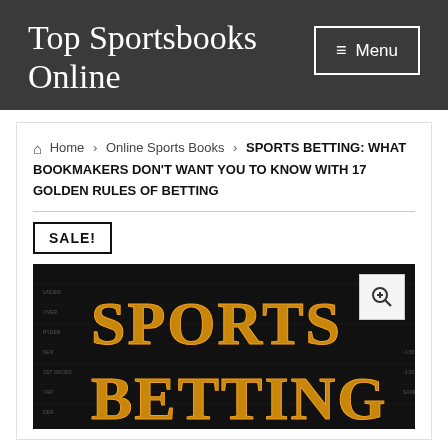Top Sportsbooks Online
≡ Menu
🏠 Home › Online Sports Books › SPORTS BETTING: WHAT BOOKMAKERS DON'T WANT YOU TO KNOW WITH 17 GOLDEN RULES OF BETTING
SALE!
[Figure (photo): Cover image of a book titled 'SPORTS BETTING' with golden 3D text on a dark background with financial/odds data visible]